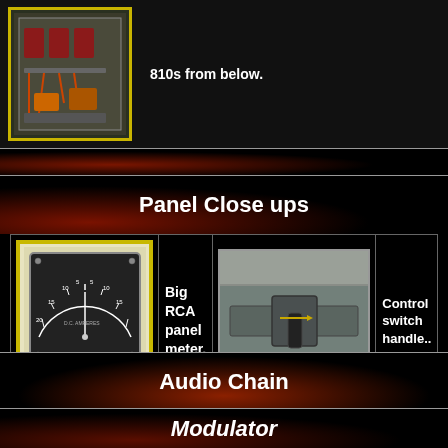[Figure (photo): Photo of electrical panel/equipment viewed from below with wiring visible]
810s from below.
Panel Close ups
[Figure (photo): Big RCA panel meter - analog gauge with arc scale]
Big RCA panel meter.
[Figure (photo): Control switch handle mounted on metal panel]
Control switch handle..
Audio Chain
Modulator